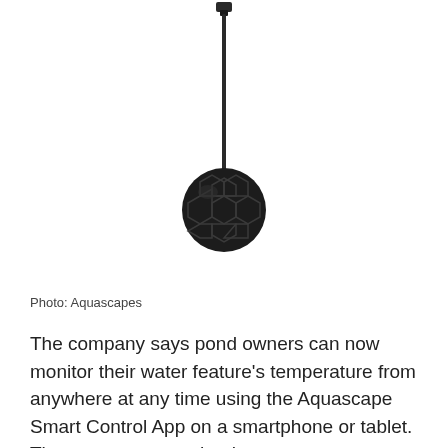[Figure (photo): A black aquatic thermometer device with a spherical sensor head featuring hexagonal pattern cutouts, attached to a thin black rod with a mounting clip at the top.]
Photo: Aquascapes
The company says pond owners can now monitor their water feature's temperature from anywhere at any time using the Aquascape Smart Control App on a smartphone or tablet. The company says the thermometer uses current and accurate